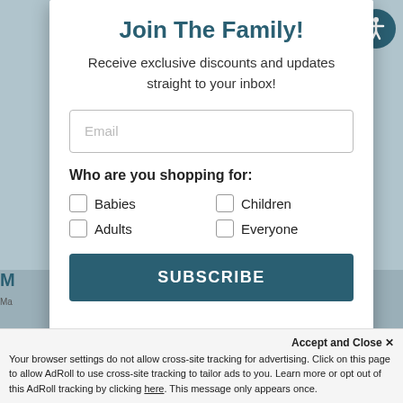[Figure (screenshot): Background website page partially visible behind modal dialog. Shows a teal/blue-grey background with partial text on the left side reading 'M' and 'Ma'.]
Join The Family!
Receive exclusive discounts and updates straight to your inbox!
Email (input field placeholder)
Who are you shopping for:
Babies
Children
Adults
Everyone
SUBSCRIBE
Accept and Close ✕
Your browser settings do not allow cross-site tracking for advertising. Click on this page to allow AdRoll to use cross-site tracking to tailor ads to you. Learn more or opt out of this AdRoll tracking by clicking here. This message only appears once.